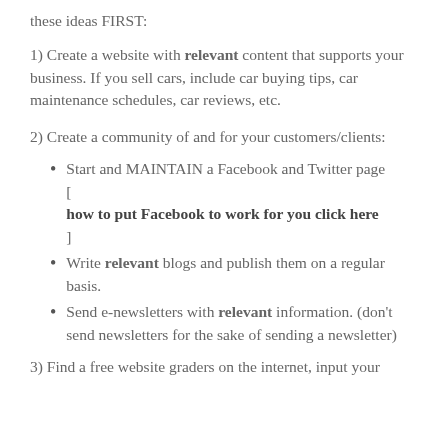these ideas FIRST:
1) Create a website with relevant content that supports your business. If you sell cars, include car buying tips, car maintenance schedules, car reviews, etc.
2) Create a community of and for your customers/clients:
Start and MAINTAIN a Facebook and Twitter page [ how to put Facebook to work for you click here ]
Write relevant blogs and publish them on a regular basis.
Send e-newsletters with relevant information. (don't send newsletters for the sake of sending a newsletter)
3) Find a free website graders on the internet, input your